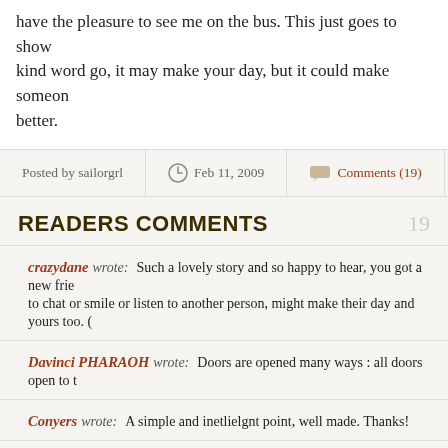have the pleasure to see me on the bus. This just goes to show kind word go, it may make your day, but it could make someone better.
Posted by sailorgrl   Feb 11, 2009   Comments (19)
READERS COMMENTS   19
crazydane wrote:   Such a lovely story and so happy to hear, you got a new frie to chat or smile or listen to another person, might make their day and yours too. (
Davinci PHARAOH wrote:   Doors are opened many ways : all doors open to t
Conyers wrote:   A simple and inetlielgnt point, well made. Thanks!
hotcocoa wrote:   How touching!

Makes me want to cry ;)
Thanks for sharing